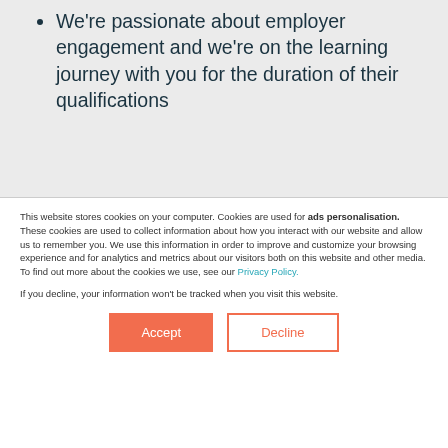We're passionate about employer engagement and we're on the learning journey with you for the duration of their qualifications
This website stores cookies on your computer. Cookies are used for ads personalisation. These cookies are used to collect information about how you interact with our website and allow us to remember you. We use this information in order to improve and customize your browsing experience and for analytics and metrics about our visitors both on this website and other media. To find out more about the cookies we use, see our Privacy Policy.
If you decline, your information won't be tracked when you visit this website.